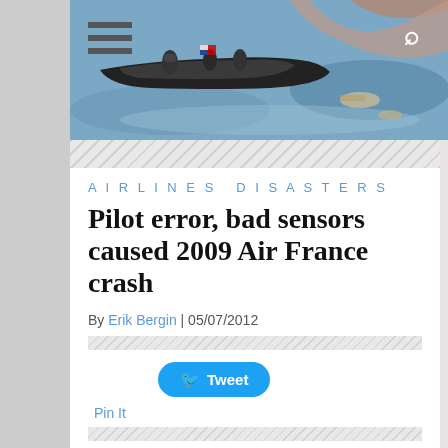[Figure (photo): Rescue boat on water with people, aerial/wide shot, blueish water scene related to Air France 2009 crash recovery]
AIRLINES DISASTERS
Pilot error, bad sensors caused 2009 Air France crash
By Erik Bergin | 05/07/2012
Tweet
Pin It
AIR FRANCE 2009 AIRLINE CRASH. It was combination of faulty sensors and